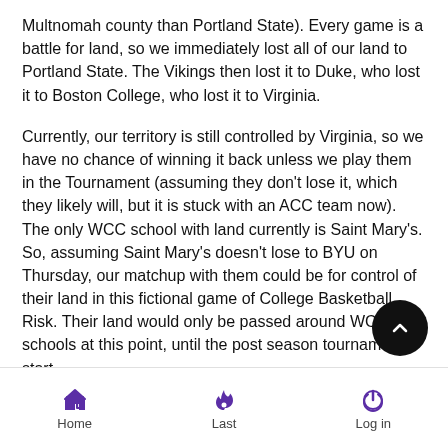Multnomah county than Portland State). Every game is a battle for land, so we immediately lost all of our land to Portland State. The Vikings then lost it to Duke, who lost it to Boston College, who lost it to Virginia.
Currently, our territory is still controlled by Virginia, so we have no chance of winning it back unless we play them in the Tournament (assuming they don't lose it, which they likely will, but it is stuck with an ACC team now). The only WCC school with land currently is Saint Mary's. So, assuming Saint Mary's doesn't lose to BYU on Thursday, our matchup with them could be for control of their land in this fictional game of College Basketball Risk. Their land would only be passed around WCC schools at this point, until the post season tournaments start.
Here is the college basketball land map as of January 21st the curious. Saint Mary's has UC-Davis' and ECU's territories